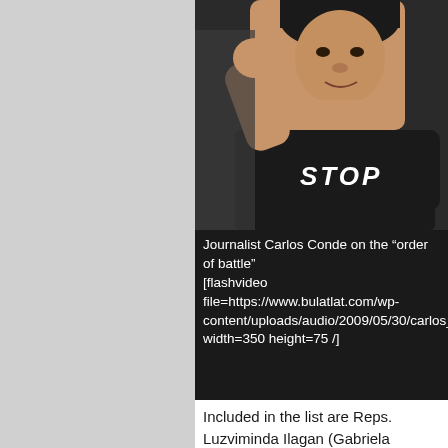[Figure (photo): A man wearing a black shirt with 'STOP' text on it, photographed from the torso up, with one hand raised.]
Journalist Carlos Conde on the “order of battle” [flashvideo file=https://www.bulatlat.com/wp-content/uploads/audio/2009/05/30/carlos_conde.mp3 width=350 height=75 /]
Included in the list are Reps. Luzviminda Ilagan (Gabriela Women’s Party) and Joel Maglunsod (Anakpawis), Former Rep. Joel Virador (Bayan Muna), Bishops